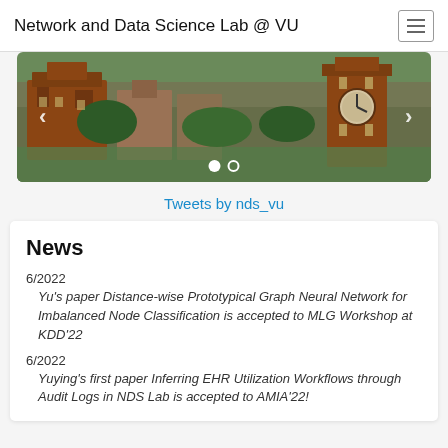Network and Data Science Lab @ VU
[Figure (photo): Aerial campus photo showing brick buildings, clock tower, and tree-lined surroundings at Vanderbilt University]
Tweets by nds_vu
News
6/2022
Yu's paper Distance-wise Prototypical Graph Neural Network for Imbalanced Node Classification is accepted to MLG Workshop at KDD'22
6/2022
Yuying's first paper Inferring EHR Utilization Workflows through Audit Logs in NDS Lab is accepted to AMIA'22!